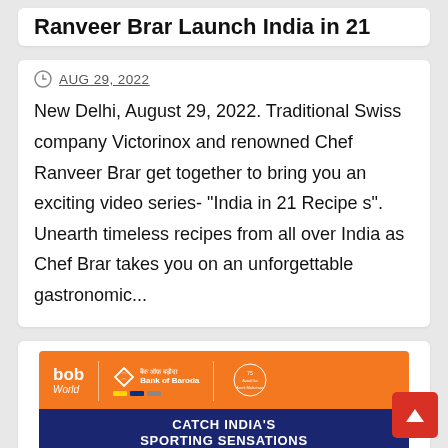Ranveer Brar Launch India in 21
AUG 29, 2022
New Delhi, August 29, 2022. Traditional Swiss company Victorinox and renowned Chef Ranveer Brar get together to bring you an exciting video series- "India in 21 Recipes". Unearth timeless recipes from all over India as Chef Brar takes you on an unforgettable gastronomic...
[Figure (photo): Bank of Baroda bob World advertisement banner with orange top section showing bob World logo and Bank of Baroda branding, and a dark blue bottom section with text CATCH INDIA'S SPORTING SENSATIONS]